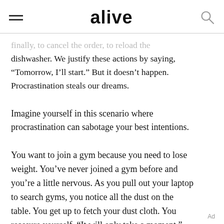alive
finally, to cancel the order, to reload the dishwasher. We justify these actions by saying, "Tomorrow, I'll start." But it doesn't happen. Procrastination steals our dreams.
Imagine yourself in this scenario where procrastination can sabotage your best intentions.
You want to join a gym because you need to lose weight. You've never joined a gym before and you're a little nervous. As you pull out your laptop to search gyms, you notice all the dust on the table. You get up to fetch your dust cloth. You reassure yourself, "It will only take a moment."
Ad